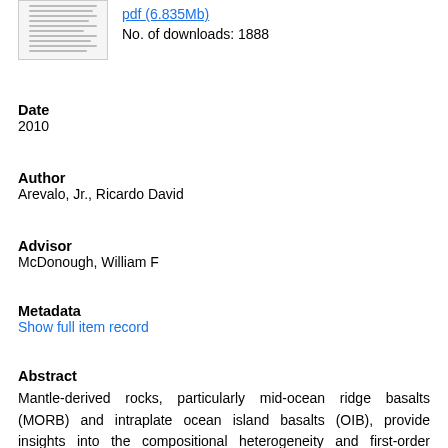[Figure (other): Thumbnail image of a document page]
pdf (6.835Mb)
No. of downloads: 1888
Date
2010
Author
Arevalo, Jr., Ricardo David
Advisor
McDonough, William F
Metadata
Show full item record
Abstract
Mantle-derived rocks, particularly mid-ocean ridge basalts (MORB) and intraplate ocean island basalts (OIB), provide insights into the compositional heterogeneity and first-order structural make-up of the modern mantle; laser ablation (LA-) ICP-MS analysis provides